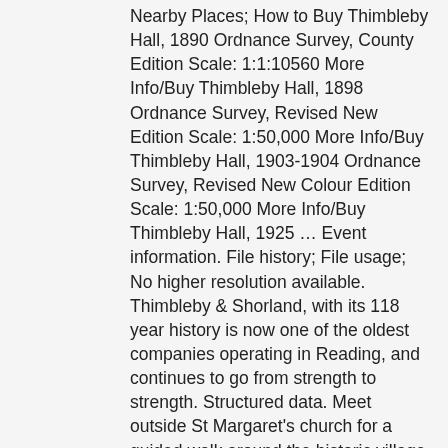Nearby Places; How to Buy Thimbleby Hall, 1890 Ordnance Survey, County Edition Scale: 1:1:10560 More Info/Buy Thimbleby Hall, 1898 Ordnance Survey, Revised New Edition Scale: 1:50,000 More Info/Buy Thimbleby Hall, 1903-1904 Ordnance Survey, Revised New Colour Edition Scale: 1:50,000 More Info/Buy Thimbleby Hall, 1925 … Event information. File history; File usage; No higher resolution available. Thimbleby & Shorland, with its 118 year history is now one of the oldest companies operating in Reading, and continues to go from strength to strength. Structured data. Meet outside St Margaret's church for a guided walk around the historic village of Thimbleby with churchwarden Bob Wayne. Shop, pub and restaurant 1 mile. Other resolutions: 320 × 210 pixels | 640 × 421 pixels | 1,024 × 673 pixels. The firm has always been associated with agricultural auctions and still operates from Reading Cattle Market, which itself can be dated back to 1850 when it was established by Royal Charter. www.savethimblebychurch.co.uk Sir Richard Llewellyn Barwick, 3rd Bt., 20th century. Horncastle Market. You can help. He